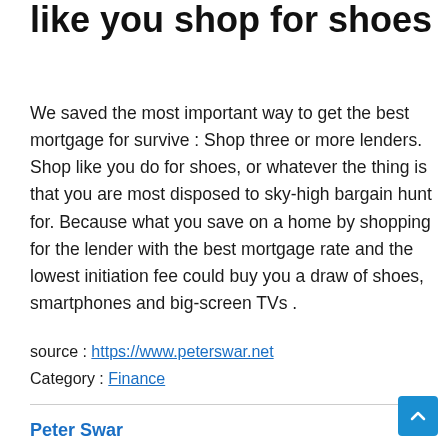like you shop for shoes
We saved the most important way to get the best mortgage for survive : Shop three or more lenders. Shop like you do for shoes, or whatever the thing is that you are most disposed to sky-high bargain hunt for. Because what you save on a home by shopping for the lender with the best mortgage rate and the lowest initiation fee could buy you a draw of shoes, smartphones and big-screen TVs .
source : https://www.peterswar.net
Category : Finance
Peter Swar